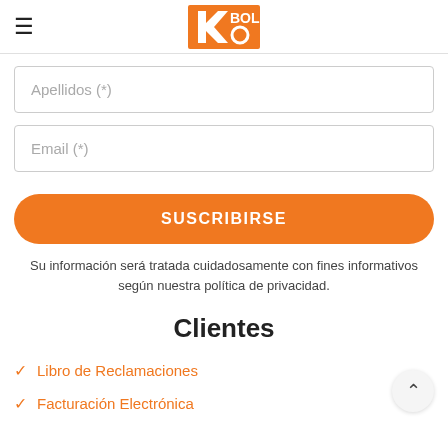Kobold logo and hamburger menu
Apellidos (*)
Email (*)
SUSCRIBIRSE
Su información será tratada cuidadosamente con fines informativos según nuestra política de privacidad.
Clientes
Libro de Reclamaciones
Facturación Electrónica